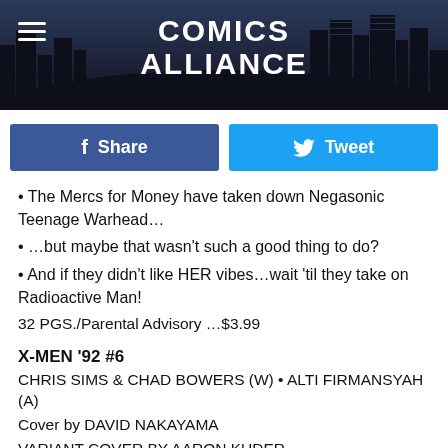COMICS ALLIANCE
Share   Tweet
• The Mercs for Money have taken down Negasonic Teenage Warhead…
• …but maybe that wasn't such a good thing to do?
• And if they didn't like HER vibes…wait 'til they take on Radioactive Man!
32 PGS./Parental Advisory …$3.99
X-MEN '92 #6
CHRIS SIMS & CHAD BOWERS (W) • ALTI FIRMANSYAH (A)
Cover by DAVID NAKAYAMA
VARIANT COVER BY AARON KUDER
• The X-Men are working security at LILAPALOOZA –